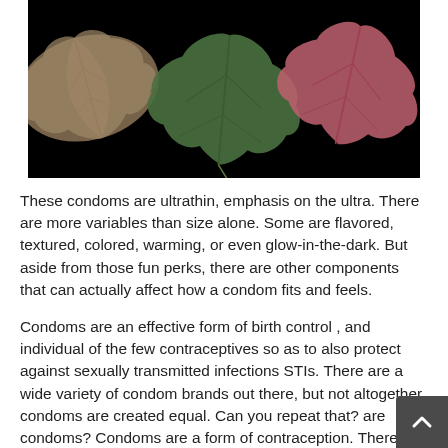[Figure (photo): Three autumn maple leaves arranged overlapping on a black background: a tan/brown leaf on the left, a green leaf in the center, and a pink/rose leaf on the right.]
These condoms are ultrathin, emphasis on the ultra. There are more variables than size alone. Some are flavored, textured, colored, warming, or even glow-in-the-dark. But aside from those fun perks, there are other components that can actually affect how a condom fits and feels.
Condoms are an effective form of birth control , and individual of the few contraceptives so as to also protect against sexually transmitted infections STIs. There are a wide variety of condom brands out there, but not altogether condoms are created equal. Can you repeat that? are condoms? Condoms are a form of contraception. There are different types of condoms, although the most common are exterior condoms designed for people along with a penis or for penis-like sex toys. They create a ba to protect against STIs by preventing semen and erstw